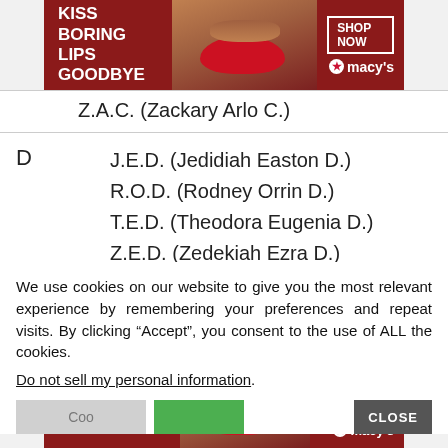[Figure (photo): Macy's advertisement banner: 'KISS BORING LIPS GOODBYE' with woman's face and red lips, SHOP NOW button and Macy's star logo on dark red background]
Z.A.C. (Zackary Arlo C.)
D
J.E.D. (Jedidiah Easton D.)
R.O.D. (Rodney Orrin D.)
T.E.D. (Theodora Eugenia D.)
Z.E.D. (Zedekiah Ezra D.)
E
A.B.E. (Abraham Benjamin E.)
A.C.E. (Ace Sophie E.)
We use cookies on our website to give you the most relevant experience by remembering your preferences and repeat visits. By clicking “Accept”, you consent to the use of ALL the cookies.
Do not sell my personal information.
[Figure (photo): Macy's advertisement banner: 'KISS BORING LIPS GOODBYE' with woman's face and red lips, SHOP NOW button and Macy's star logo on dark red background]